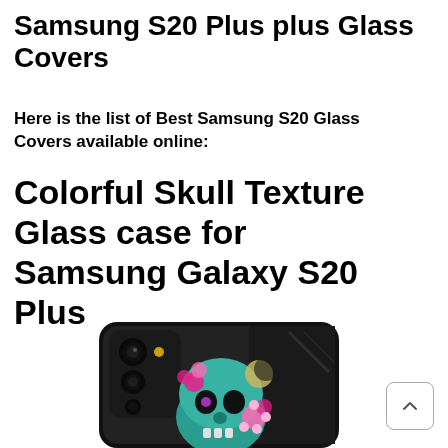Samsung S20 Plus plus Glass Covers
Here is the list of Best Samsung S20 Glass Covers available online:
Colorful Skull Texture Glass case for Samsung Galaxy S20 Plus
[Figure (photo): Photo of a Samsung Galaxy S20 Plus phone with a colorful skull texture glass case, showing the back of the phone with a turquoise skull decorated with pink flowers on a dark background. Camera module visible in upper left.]
[Figure (other): Scroll-to-top button with upward caret arrow, rounded square border]